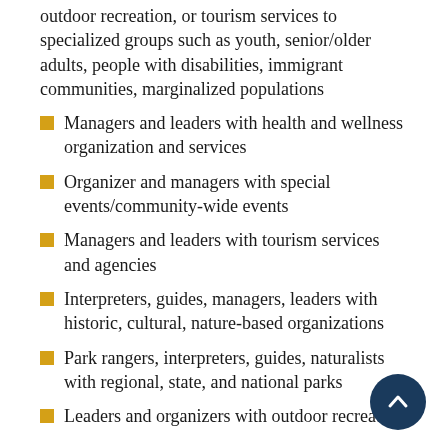outdoor recreation, or tourism services to specialized groups such as youth, senior/older adults, people with disabilities, immigrant communities, marginalized populations
Managers and leaders with health and wellness organization and services
Organizer and managers with special events/community-wide events
Managers and leaders with tourism services and agencies
Interpreters, guides, managers, leaders with historic, cultural, nature-based organizations
Park rangers, interpreters, guides, naturalists with regional, state, and national parks
Leaders and organizers with outdoor recreation